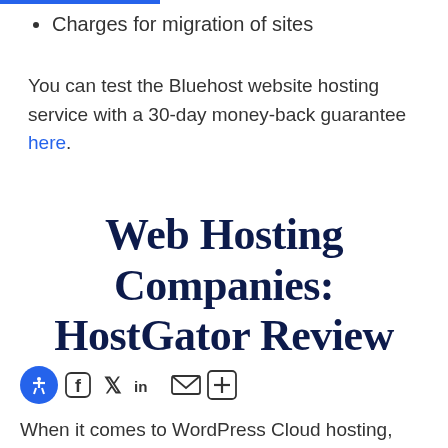Charges for migration of sites
You can test the Bluehost website hosting service with a 30-day money-back guarantee here.
Web Hosting Companies: HostGator Review
[Figure (other): Social sharing icons: accessibility icon (blue circle), Facebook, Twitter/X, LinkedIn, email, add/share button]
When it comes to WordPress Cloud hosting,